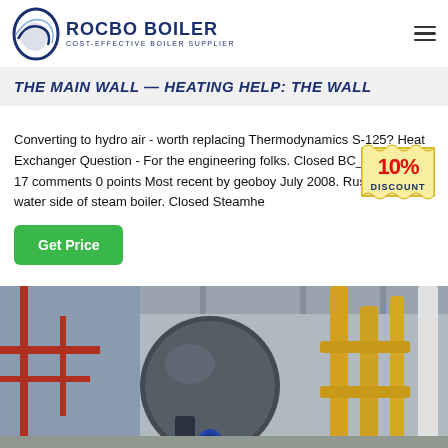ROCBO BOILER — COST-EFFECTIVE BOILER SUPPLIER
THE MAIN WALL — Heating Help: The Wall
Converting to hydro air - worth replacing Thermodynamics S-125? Heat Exchanger Question - For the engineering folks. Closed BC_5 285 views 17 comments 0 points Most recent by geoboy July 2008. Rust on the water side of steam boiler. Closed Steamhe
[Figure (infographic): 10% DISCOUNT badge/sticker graphic in red and yellow]
Get Price
[Figure (photo): Industrial boiler room showing large cylindrical steam boiler with yellow pipes and red metal framework in a factory setting]